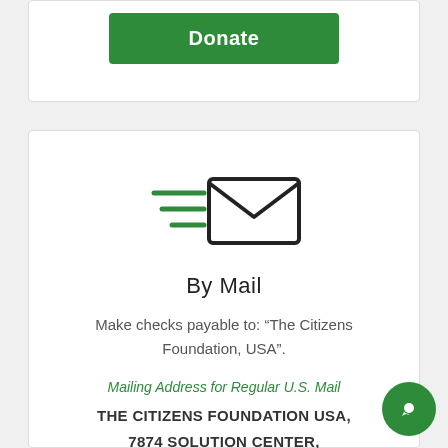[Figure (other): Green Donate button]
[Figure (illustration): Email/mail icon with speed lines on the left, representing sending mail]
By Mail
Make checks payable to: “The Citizens Foundation, USA”.
Mailing Address for Regular U.S. Mail
THE CITIZENS FOUNDATION USA, 7874 SOLUTION CENTER,